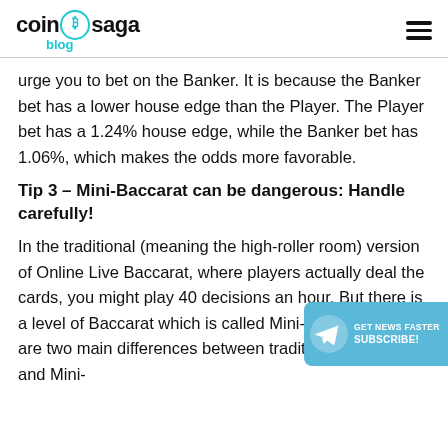coin saga blog
urge you to bet on the Banker. It is because the Banker bet has a lower house edge than the Player. The Player bet has a 1.24% house edge, while the Banker bet has 1.06%, which makes the odds more favorable.
Tip 3 – Mini-Baccarat can be dangerous: Handle carefully!
In the traditional (meaning the high-roller room) version of Online Live Baccarat, where players actually deal the cards, you might play 40 decisions an hour. But there is a level of Baccarat which is called Mini-Baccarat. There are two main differences between traditional Baccarat and Mini-